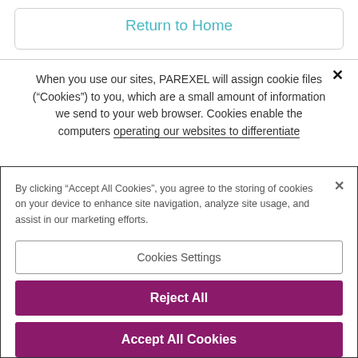Return to Home
When you use our sites, PAREXEL will assign cookie files (“Cookies”) to you, which are a small amount of information we send to your web browser. Cookies enable the computers operating our websites to differentiate
By clicking “Accept All Cookies”, you agree to the storing of cookies on your device to enhance site navigation, analyze site usage, and assist in our marketing efforts.
Cookies Settings
Reject All
Accept All Cookies